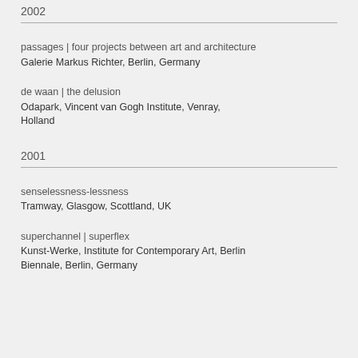2002
passages | four projects between art and architecture
Galerie Markus Richter, Berlin, Germany
de waan | the delusion
Odapark, Vincent van Gogh Institute, Venray, Holland
2001
senselessness-lessness
Tramway, Glasgow, Scottland, UK
superchannel | superflex
Kunst-Werke, Institute for Contemporary Art, Berlin Biennale, Berlin, Germany